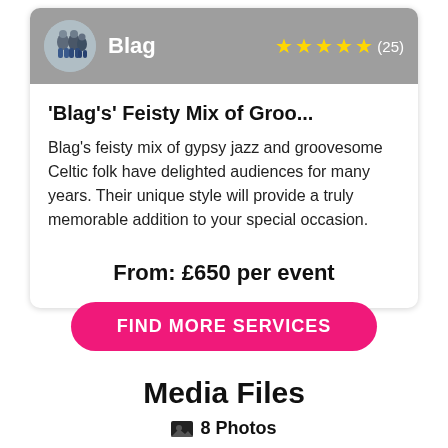[Figure (photo): Group photo of musicians (band Blag) shown as a circular avatar in the card header]
Blag
★★★★★ (25)
'Blag's' Feisty Mix of Groo...
Blag's feisty mix of gypsy jazz and groovesome Celtic folk have delighted audiences for many years. Their unique style will provide a truly memorable addition to your special occasion.
From: £650 per event
FIND MORE SERVICES
Media Files
8 Photos